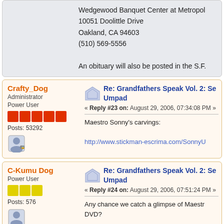Wedgewood Banquet Center at Metropol...
10051 Doolittle Drive
Oakland, CA 94603
(510) 569-5556

An obituary will also be posted in the S.F.
Crafty_Dog
Administrator
Power User
Posts: 53292
Re: Grandfathers Speak Vol. 2: Se... Umpad
« Reply #23 on: August 29, 2006, 07:34:08 PM »
Maestro Sonny's carvings:
http://www.stickman-escrima.com/SonnyU...
C-Kumu Dog
Power User
Posts: 576
Re: Grandfathers Speak Vol. 2: Se... Umpad
« Reply #24 on: August 29, 2006, 07:51:24 PM »
Any chance we catch a glimpse of Maestr... DVD?